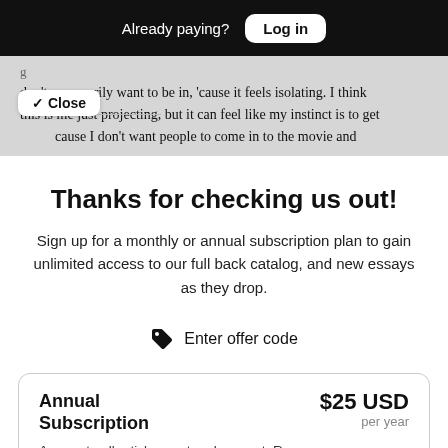Already paying? Log in
don't necessarily want to be in, 'cause it feels isolating. I think this is me just projecting, but it can feel like my instinct is to get cause I don't want people to come in to the movie and
Thanks for checking us out!
Sign up for a monthly or annual subscription plan to gain unlimited access to our full back catalog, and new essays as they drop.
Enter offer code
| Annual Subscription | $25 USD per year |
| --- | --- |
| Access to all articles past and present. Renews |  |